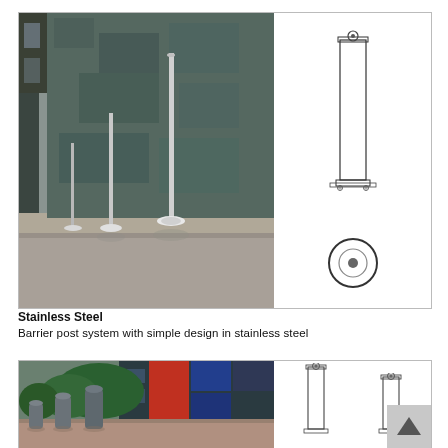[Figure (photo): Photo of stainless steel barrier posts installed along a building exterior wall (dark stone cladding), with engineering line drawings showing front elevation and base detail of the post system]
Stainless Steel
Barrier post system with simple design in stainless steel
[Figure (photo): Photo of grey powder-coated bollards installed in a plaza in front of a modern red and blue building, with engineering line drawings showing two sizes of barrier post]